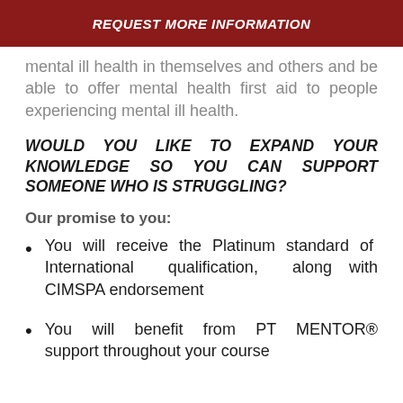REQUEST MORE INFORMATION
mental ill health in themselves and others and be able to offer mental health first aid to people experiencing mental ill health.
WOULD YOU LIKE TO EXPAND YOUR KNOWLEDGE SO YOU CAN SUPPORT SOMEONE WHO IS STRUGGLING?
Our promise to you:
You will receive the Platinum standard of International qualification, along with CIMSPA endorsement
You will benefit from PT MENTOR® support throughout your course